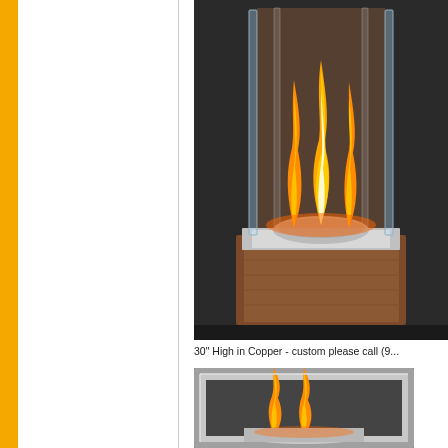[Figure (photo): A tabletop fireplace with glass panels and copper/wood base, showing tall orange flames rising from a stainless steel burner cup, photographed on a dark surface.]
30" High in Copper - custom please call (9...
[Figure (photo): A second fireplace unit with stainless steel frame and glass panels, showing orange flames inside, partially visible at bottom of page.]